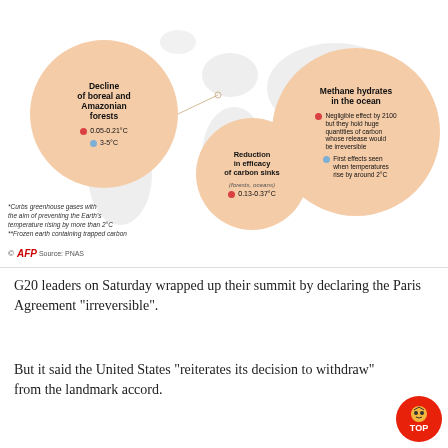[Figure (infographic): Climate tipping points infographic showing bubbles for: Decline of boreal and Amazonian forests (0.05-0.21°C red, 3-5°C blue), Reduction in efficacy of carbon sinks forests oceans (0.13-0.37°C red), and Methane hydrates in the ocean (negligible effect by 2100 but hold huge quantities of carbon whose release would be irreversible; first effects seen when temperatures rise by around 2°C). Connector lines link bubbles to a world map background.]
*Curbs greenhouse gases with the aim of preventing the Earth's temperature rising by more than 2°C
**Frozen earth containing trapped carbon
© AFP Source: PNAS
G20 leaders on Saturday wrapped up their summit by declaring the Paris Agreement "irreversible".
But it said the United States "reiterates its decision to withdraw" from the landmark accord.